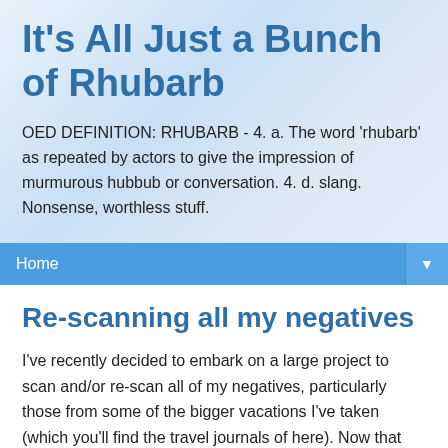It's All Just a Bunch of Rhubarb
OED DEFINITION: RHUBARB - 4. a. The word 'rhubarb' as repeated by actors to give the impression of murmurous hubbub or conversation. 4. d. slang. Nonsense, worthless stuff.
Home ▼
Re-scanning all my negatives
I've recently decided to embark on a large project to scan and/or re-scan all of my negatives, particularly those from some of the bigger vacations I've taken (which you'll find the travel journals of here). Now that I've learned a lot more about photo processing, I'm really looking forward to seeing how much better I can make those pictures. A test scan is